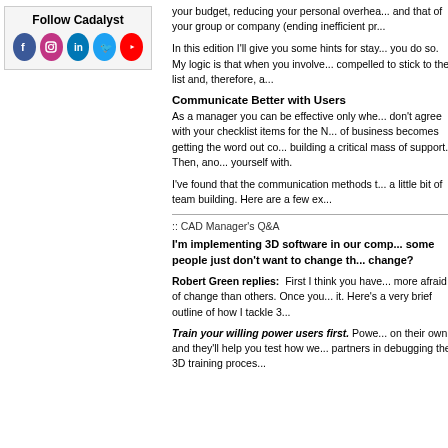[Figure (other): Follow Cadalyst social media banner with Facebook, Instagram, LinkedIn, Twitter, and YouTube icons]
your budget, reducing your personal overhead and that of your group or company (ending inefficient pr...
In this edition I'll give you some hints for staying on budget... My logic is that when you involve... compelled to stick to the list and, therefore, a...
Communicate Better with Users
As a manager you can be effective only whe... don't agree with your checklist items for the N... of business becomes getting the word out co... building a critical mass of support. Then, ano... yourself with.
I've found that the communication methods t... a little bit of team building. Here are a few ex...
:: CAD Manager's Q&A
I'm implementing 3D software in our comp... some people just don't want to change th... change?
Robert Green replies: First I think you have... more afraid of change than others. Once you... it. Here's a very brief outline of how I tackle 3...
Train your willing power users first. Powe... on their own and they'll help you test how we... partners in debugging the 3D training proces...